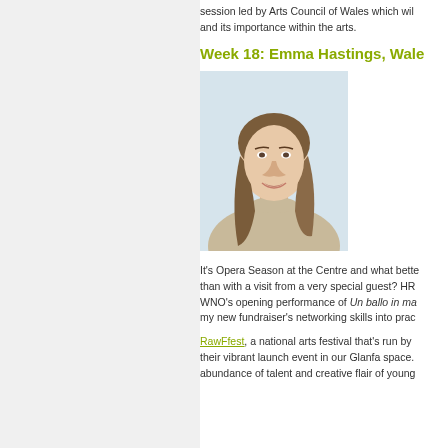session led by Arts Council of Wales which will and its importance within the arts.
Week 18: Emma Hastings, Wales
[Figure (photo): Portrait photo of Emma Hastings, a young woman with long brown-blonde hair, wearing a beige turtleneck sweater, against a light blue background.]
It's Opera Season at the Centre and what bette than with a visit from a very special guest? HR WNO's opening performance of Un ballo in ma my new fundraiser's networking skills into prac
RawFfest, a national arts festival that's run by their vibrant launch event in our Glanfa space. abundance of talent and creative flair of young